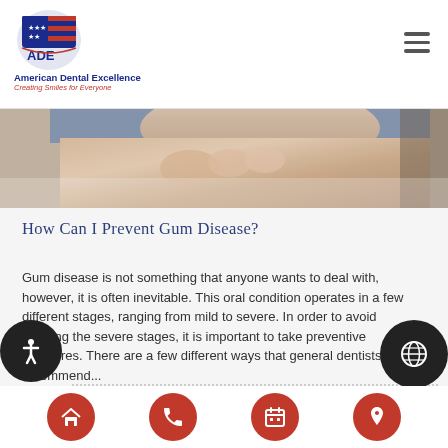American Dental Excellence — Creating Smiles for Everyone
[Figure (photo): Close-up photo of a person's face/skin, partial view, appearing as a banner/hero image strip at the top of the article]
How Can I Prevent Gum Disease?
Gum disease is not something that anyone wants to deal with, however, it is often inevitable. This oral condition operates in a few different stages, ranging from mild to severe. In order to avoid entering the severe stages, it is important to take preventive measures. There are a few different ways that general dentists recommend...